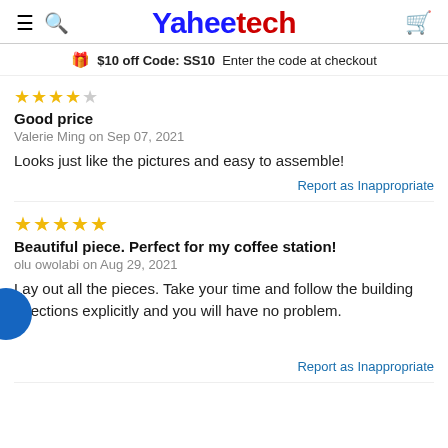Yaheetech
$10 off Code: SS10  Enter the code at checkout
Good price
Valerie Ming on Sep 07, 2021
Looks just like the pictures and easy to assemble!
Report as Inappropriate
Beautiful piece. Perfect for my coffee station!
olu owolabi on Aug 29, 2021
Lay out all the pieces. Take your time and follow the building directions explicitly and you will have no problem.
Report as Inappropriate